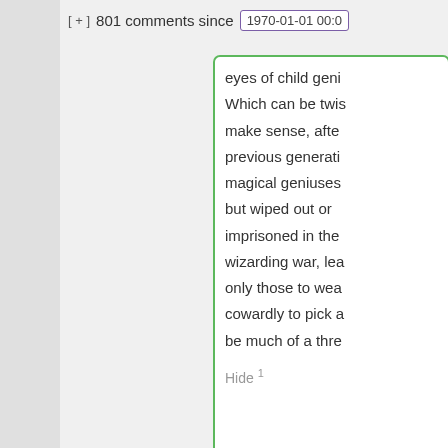[ + ]  801 comments since   1970-01-01 00:0
eyes of child geni
Which can be twis
make sense, afte
previous generati
magical geniuses
but wiped out or
imprisoned in the
wizarding war, lea
only those to wea
cowardly to pick a
be much of a thre
Hide 1
John Schilling sa
February 4, 2019 at
~new~